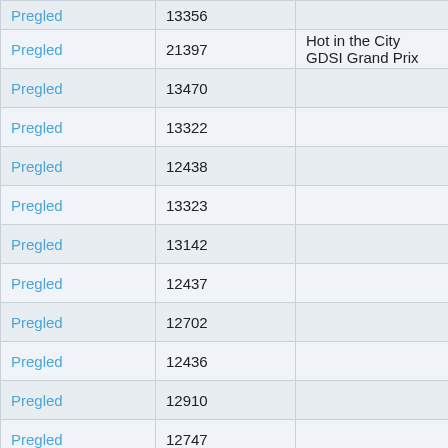| Pregled | 13356 |  |
| Pregled | 21397 | Hot in the City GDSI Grand Prix |
| Pregled | 13470 |  |
| Pregled | 13322 |  |
| Pregled | 12438 |  |
| Pregled | 13323 |  |
| Pregled | 13142 |  |
| Pregled | 12437 |  |
| Pregled | 12702 |  |
| Pregled | 12436 |  |
| Pregled | 12910 |  |
| Pregled | 12747 |  |
| Pregled | 9452 |  |